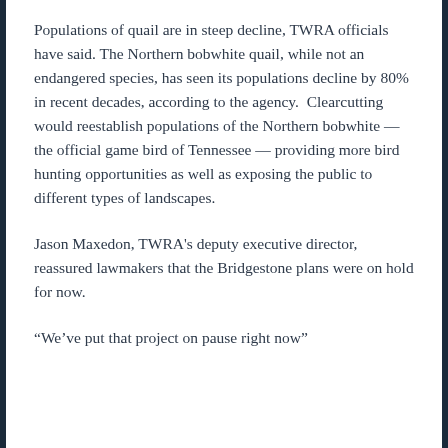Populations of quail are in steep decline, TWRA officials have said. The Northern bobwhite quail, while not an endangered species, has seen its populations decline by 80% in recent decades, according to the agency.  Clearcutting would reestablish populations of the Northern bobwhite — the official game bird of Tennessee — providing more bird hunting opportunities as well as exposing the public to different types of landscapes.
Jason Maxedon, TWRA's deputy executive director, reassured lawmakers that the Bridgestone plans were on hold for now.
“We’ve put that project on pause right now”